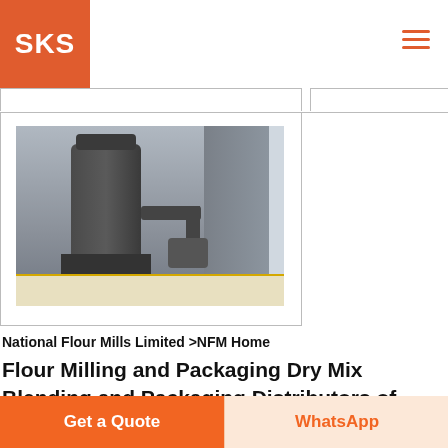[Figure (logo): SKS logo white text on orange/red square background]
[Figure (photo): Industrial flour milling machinery in a factory setting, large gray machines with pipes]
National Flour Mills Limited >NFM Home
Flour Milling and Packaging Dry Mix Blending and Packaging Distributors of Packaged Rice Distributors of Ginger Tea Coconut Milk Yeast Distributors of
[Figure (photo): Two partial thumbnail images of industrial machinery at the bottom of the page]
Get a Quote
WhatsApp